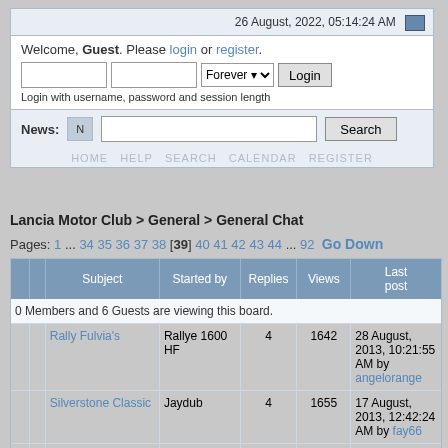26 August, 2022, 05:14:24 AM
Welcome, Guest. Please login or register.
Login with username, password and session length
News:
HOME  HELP  SEARCH  CALENDAR  REGISTER
Lancia Motor Club > General > General Chat
Pages: 1 ... 34 35 36 37 38 [39] 40 41 42 43 44 ... 92  Go Down
|  |  | Subject | Started by | Replies | Views | Last post |
| --- | --- | --- | --- | --- | --- | --- |
| 0 Members and 6 Guests are viewing this board. |
|  |  | Rally Fulvia's | Rallye 1600 HF | 4 | 1642 | 28 August, 2013, 10:21:55 AM by angelorange |
|  |  | Silverstone Classic | Jaydub | 4 | 1655 | 17 August, 2013, 12:42:24 AM by fay66 |
|  |  | BODY REPAIRS | 2000 BUMPERS | David Bieda | 4 | 1848 | 02 August, 2019, 02:52:09 PM by Justin |